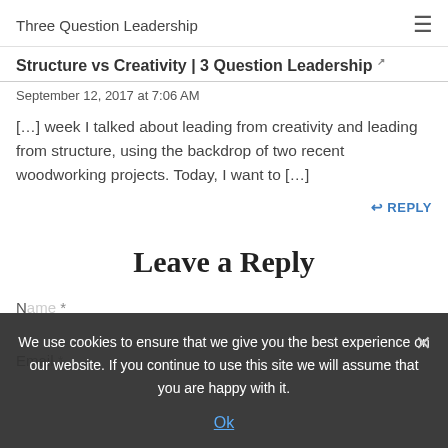Three Question Leadership
Structure vs Creativity | 3 Question Leadership
September 12, 2017 at 7:06 AM
[…] week I talked about leading from creativity and leading from structure, using the backdrop of two recent woodworking projects. Today, I want to […]
↩ REPLY
Leave a Reply
Name *
Email *
We use cookies to ensure that we give you the best experience on our website. If you continue to use this site we will assume that you are happy with it.
Ok